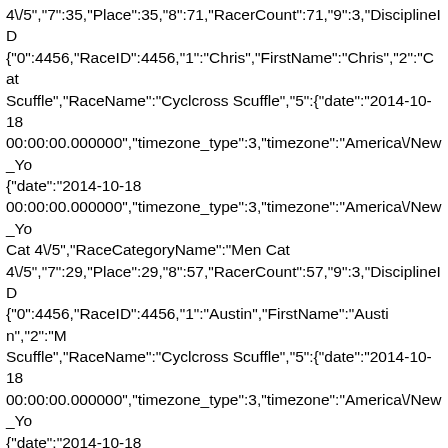4\/5","7":35,"Place":35,"8":71,"RacerCount":71,"9":3,"DisciplineID {"0":4456,"RaceID":4456,"1":"Chris","FirstName":"Chris","2":"Cat Scuffle","RaceName":"Cyclcross Scuffle","5":{"date":"2014-10-18 00:00:00.000000","timezone_type":3,"timezone":"America\/New_Yo {"date":"2014-10-18 00:00:00.000000","timezone_type":3,"timezone":"America\/New_Yo Cat 4\/5","RaceCategoryName":"Men Cat 4\/5","7":29,"Place":29,"8":57,"RacerCount":57,"9":3,"DisciplineID {"0":4456,"RaceID":4456,"1":"Austin","FirstName":"Austin","2":"M Scuffle","RaceName":"Cyclcross Scuffle","5":{"date":"2014-10-18 00:00:00.000000","timezone_type":3,"timezone":"America\/New_Yo {"date":"2014-10-18 00:00:00.000000","timezone_type":3,"timezone":"America\/New_Yo Open Juniors 10-14","RaceCategoryName":"Men Open Juniors 10-14","7":9,"Place":9,"8":19,"RacerCount":19,"9":3,"DisciplineID":3, {"0":4456,"RaceID":4456,"1":"Jason","FirstName":"Jason","2":"Be Scuffle","RaceName":"Cyclcross Scuffle","5":{"date":"2014-10-18 00:00:00.000000","timezone_type":3,"timezone":"America\/New_Yo {"date":"2014-10-18 00:00:00.000000","timezone_type":3,"timezone":"America\/New_Yo Cat 3\/4","RaceCategoryName":"Men Cat